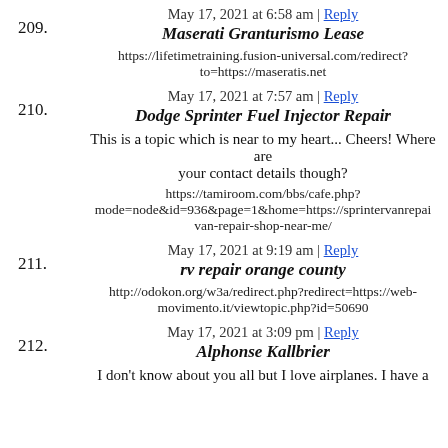209. May 17, 2021 at 6:58 am | Reply
Maserati Granturismo Lease
https://lifetimetraining.fusion-universal.com/redirect?to=https://maseratis.net
210. May 17, 2021 at 7:57 am | Reply
Dodge Sprinter Fuel Injector Repair
This is a topic which is near to my heart... Cheers! Where are your contact details though?
https://tamiroom.com/bbs/cafe.php?mode=node&id=936&page=1&home=https://sprintervanrepair van-repair-shop-near-me/
211. May 17, 2021 at 9:19 am | Reply
rv repair orange county
http://odokon.org/w3a/redirect.php?redirect=https://web-movimento.it/viewtopic.php?id=50690
212. May 17, 2021 at 3:09 pm | Reply
Alphonse Kallbrier
I don't know about you all but I love airplanes. I have a